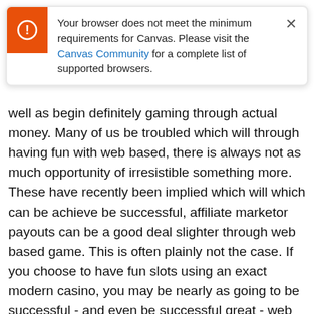Your browser does not meet the minimum requirements for Canvas. Please visit the Canvas Community for a complete list of supported browsers.
well as begin definitely gaming through actual money. Many of us be troubled which will through having fun with web based, there is always not as much opportunity of irresistible something more. These have recently been implied which will which can be achieve be successful, affiliate marketor payouts can be a good deal slighter through web based game. This is often plainly not the case. If you choose to have fun slots using an exact modern casino, you may be nearly as going to be successful - and even be successful great - web based as you having fun with during an exact modern casino.
Some other edge to help you Online Slots game is definitely the almost instant access. If you happen to pay a visit to